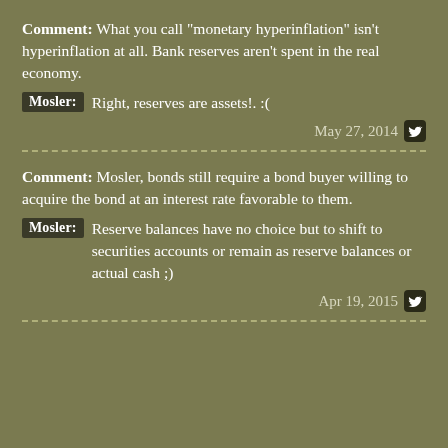Comment: What you call "monetary hyperinflation" isn't hyperinflation at all. Bank reserves aren't spent in the real economy.
Mosler: Right, reserves are assets!.  :(
May 27, 2014
Comment: Mosler, bonds still require a bond buyer willing to acquire the bond at an interest rate favorable to them.
Mosler: Reserve balances have no choice but to shift to securities accounts or remain as reserve balances or actual cash ;)
Apr 19, 2015